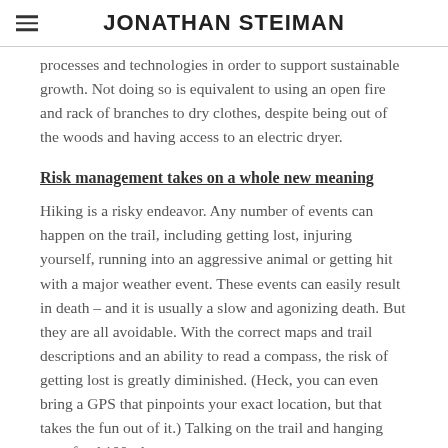JONATHAN STEIMAN
processes and technologies in order to support sustainable growth. Not doing so is equivalent to using an open fire and rack of branches to dry clothes, despite being out of the woods and having access to an electric dryer.
Risk management takes on a whole new meaning
Hiking is a risky endeavor. Any number of events can happen on the trail, including getting lost, injuring yourself, running into an aggressive animal or getting hit with a major weather event. These events can easily result in death – and it is usually a slow and agonizing death. But they are all avoidable. With the correct maps and trail descriptions and an ability to read a compass, the risk of getting lost is greatly diminished. (Heck, you can even bring a GPS that pinpoints your exact location, but that takes the fun out of it.) Talking on the trail and hanging your food 100-plus meters